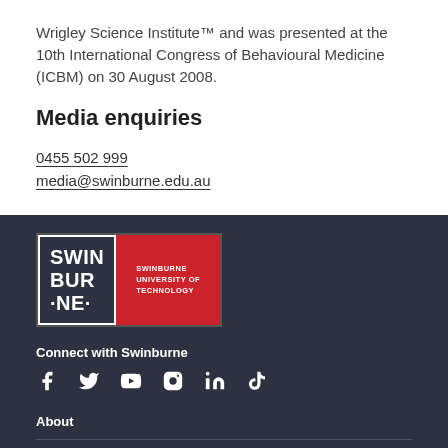Wrigley Science Institute™ and was presented at the 10th International Congress of Behavioural Medicine (ICBM) on 30 August 2008.
Media enquiries
0455 502 999
media@swinburne.edu.au
[Figure (logo): Swinburne University of Technology logo with black left panel showing SWINBURNE in bold and red right panel with SWINBURNE UNIVERSITY OF TECHNOLOGY text]
Connect with Swinburne
[Figure (infographic): Social media icons: Facebook, Twitter, YouTube, Instagram, LinkedIn, TikTok]
About